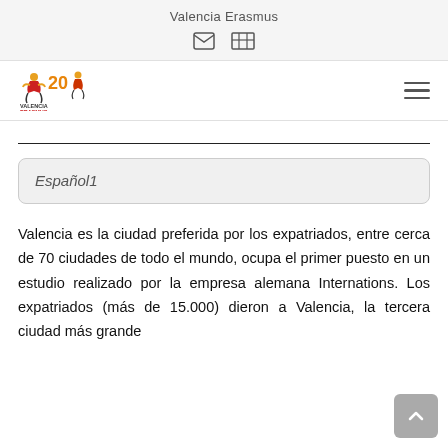Valencia Erasmus
[Figure (logo): Valencia Erasmus logo with colorful figures and 20th anniversary mark]
Español1
Valencia es la ciudad preferida por los expatriados, entre cerca de 70 ciudades de todo el mundo, ocupa el primer puesto en un estudio realizado por la empresa alemana Internations. Los expatriados (más de 15.000) dieron a Valencia, la tercera ciudad más grande